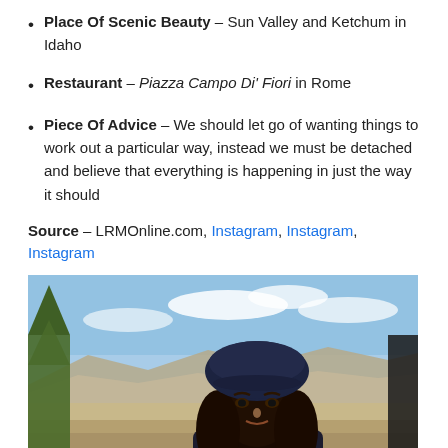Place Of Scenic Beauty – Sun Valley and Ketchum in Idaho
Restaurant – Piazza Campo Di' Fiori in Rome
Piece Of Advice – We should let go of wanting things to work out a particular way, instead we must be detached and believe that everything is happening in just the way it should
Source – LRMOnline.com, Instagram, Instagram, Instagram
[Figure (photo): A woman wearing a dark knit beret hat, with long dark hair, standing outdoors with a mountainous desert landscape and blue sky in the background, with a conifer tree visible on the left.]